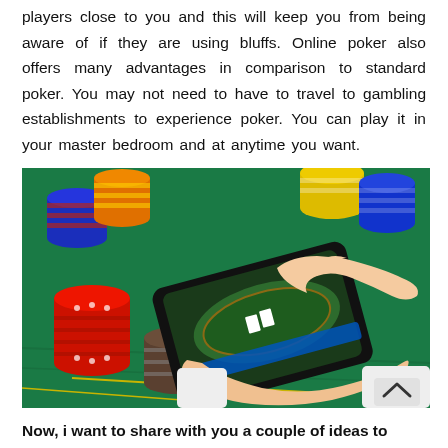players close to you and this will keep you from being aware of if they are using bluffs. Online poker also offers many advantages in comparison to standard poker. You may not need to have to travel to gambling establishments to experience poker. You can play it in your master bedroom and at anytime you want.
[Figure (photo): Person playing online poker on a smartphone at a casino table surrounded by colorful poker chips (red, blue, yellow, orange, grey) on a green felt surface. A finger is touching the phone screen. There is a white upward-pointing caret/chevron icon in the lower right corner of the image.]
Now, i want to share with you a couple of ideas to